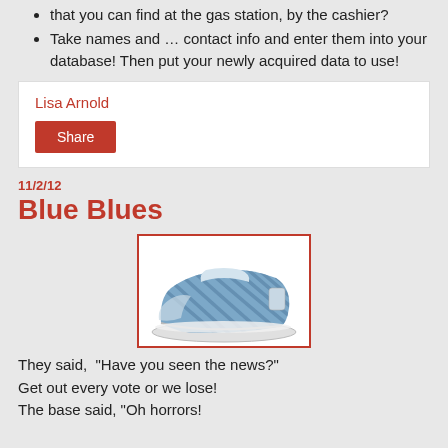that you can find at the gas station, by the cashier?
Take names and … contact info and enter them into your database! Then put your newly acquired data to use!
Lisa Arnold
Share
11/2/12
Blue Blues
[Figure (photo): A blue and white striped slip-on sneaker/shoe shown at an angle]
They said,  "Have you seen the news?"
Get out every vote or we lose!
The base said, "Oh horrors!